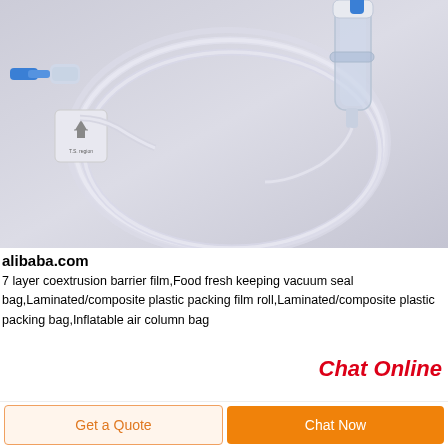[Figure (photo): Photo of transparent medical IV infusion set tubing coiled on a light grey/lavender background, with blue cap connector on left and filter/drip chamber component on upper right. Clear PVC tubing forms a large loop in the center.]
alibaba.com
7 layer coextrusion barrier film,Food fresh keeping vacuum seal bag,Laminated/composite plastic packing film roll,Laminated/composite plastic packing bag,Inflatable air column bag
Chat Online
Get a Quote
Chat Now